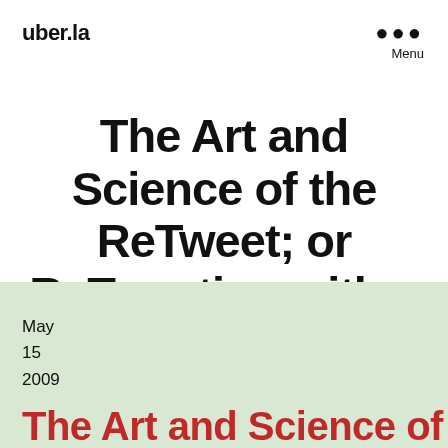uber.la  ●●● Menu
The Art and Science of the ReTweet; or ReTweeting with a Twist
May
15
2009
The Art and Science of the